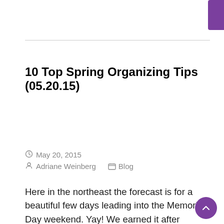[Figure (other): Purple 'Read more' button]
10 Top Spring Organizing Tips (05.20.15)
May 20, 2015  Adriane Weinberg  Blog
Here in the northeast the forecast is for a beautiful few days leading into the Memorial Day weekend. Yay! We earned it after suffering through the polar vortex last winter! Here are 10 top spring organizing tips, some or all...